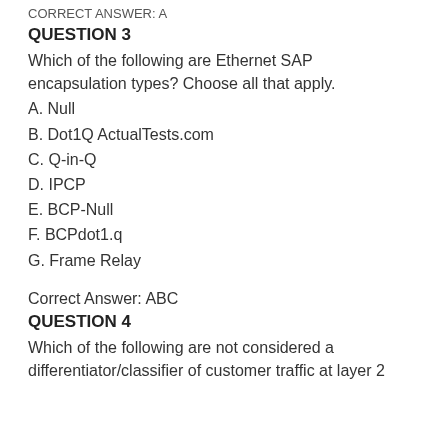CORRECT ANSWER: A
QUESTION 3
Which of the following are Ethernet SAP encapsulation types? Choose all that apply.
A. Null
B. Dot1Q ActualTests.com
C. Q-in-Q
D. IPCP
E. BCP-Null
F. BCPdot1.q
G. Frame Relay
Correct Answer: ABC
QUESTION 4
Which of the following are not considered a differentiator/classifier of customer traffic at layer 2